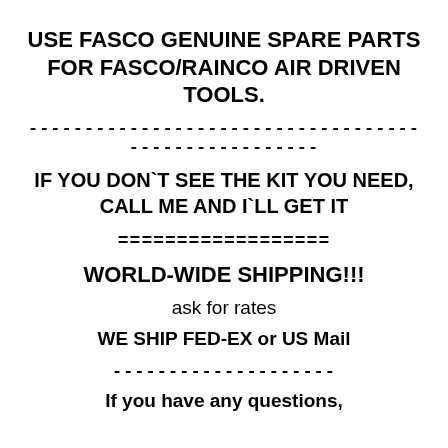USE  FASCO GENUINE SPARE PARTS FOR FASCO/RAINCO AIR DRIVEN TOOLS.
----------------------------------------------------
IF YOU DON`T SEE THE KIT YOU NEED, CALL ME AND I`LL GET IT
==================
WORLD-WIDE SHIPPING!!!
ask for rates
WE SHIP FED-EX or US Mail
--------------------
If you have any questions,